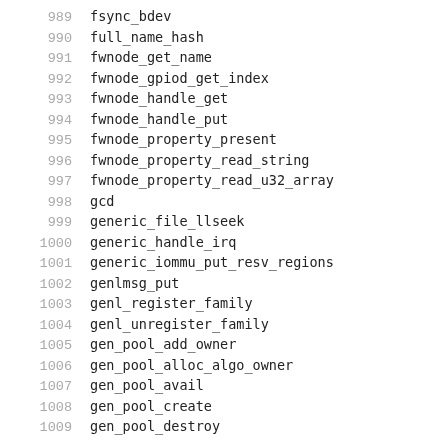989    fsync_bdev
990    full_name_hash
991    fwnode_get_name
992    fwnode_gpiod_get_index
993    fwnode_handle_get
994    fwnode_handle_put
995    fwnode_property_present
996    fwnode_property_read_string
997    fwnode_property_read_u32_array
998    gcd
999    generic_file_llseek
1000   generic_handle_irq
1001   generic_iommu_put_resv_regions
1002   genlmsg_put
1003   genl_register_family
1004   genl_unregister_family
1005   gen_pool_add_owner
1006   gen_pool_alloc_algo_owner
1007   gen_pool_avail
1008   gen_pool_create
1009   gen_pool_destroy